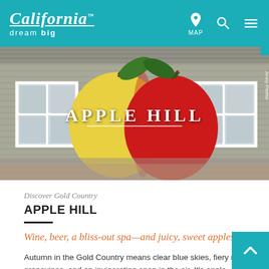California dream big — MAP [navigation icons]
[Figure (photo): A corrugated metal barn wall painted with a large yellow and red apple mural, with two white-framed windows on either side. The text 'APPLE HILL' is overlaid in white capital letters with an underline.]
Jenny Pfeiffer
Discover Gold Country
APPLE HILL
Wine, beer, a bliss-out spa—and juicy, sweet apples
Autumn in the Gold Country means clear blue skies, fiery red grapevines, and an invigorating snap in the air. It's apple season too, with more...
DISCOVER